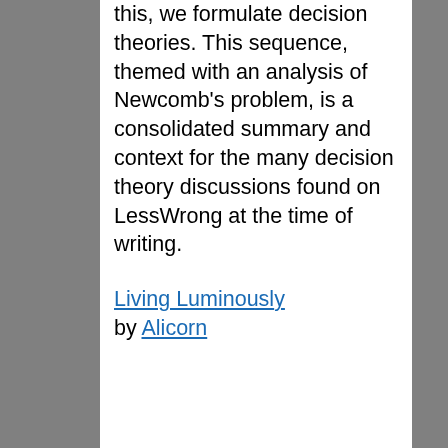this, we formulate decision theories. This sequence, themed with an analysis of Newcomb's problem, is a consolidated summary and context for the many decision theory discussions found on LessWrong at the time of writing.
Living Luminously by Alicorn